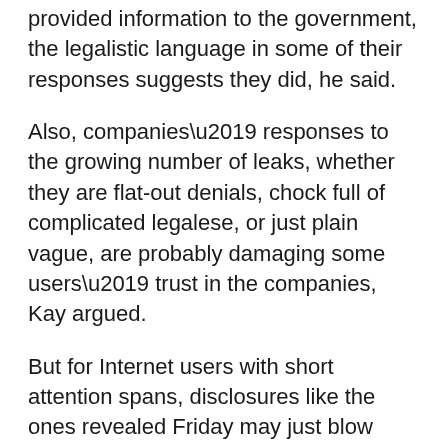provided information to the government, the legalistic language in some of their responses suggests they did, he said.
Also, companies’ responses to the growing number of leaks, whether they are flat-out denials, chock full of complicated legalese, or just plain vague, are probably damaging some users’ trust in the companies, Kay argued.
But for Internet users with short attention spans, disclosures like the ones revealed Friday may just blow over, he added.
Still, many questions remain about the type of data collection that was paid for in the millions of dollars in compliance costs that companies reportedly incurred.